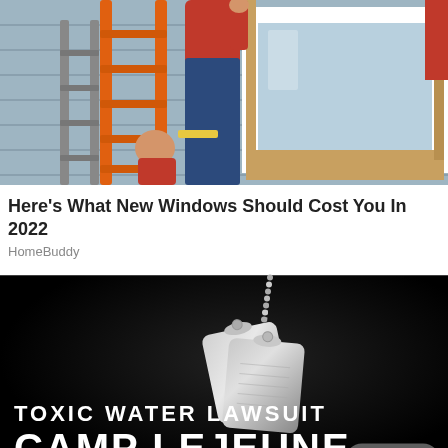[Figure (photo): People installing a window on a house exterior, orange ladder visible, person in red shirt and jeans on ladder]
Here's What New Windows Should Cost You In 2022
HomeBuddy
[Figure (photo): Dark background advertisement showing military dog tags on a chain with text 'TOXIC WATER LAWSUIT CAMP LEJEUNE' and a 'Go Top' button]